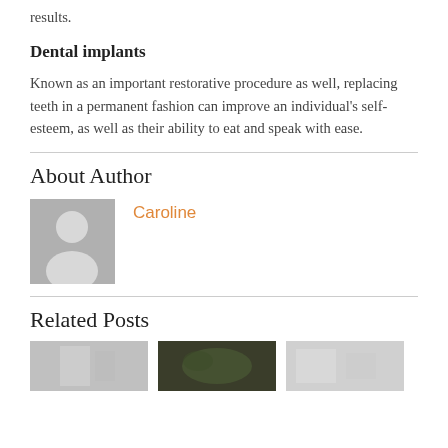results.
Dental implants
Known as an important restorative procedure as well, replacing teeth in a permanent fashion can improve an individual's self-esteem, as well as their ability to eat and speak with ease.
About Author
[Figure (photo): Default author avatar placeholder showing a silhouette person icon on grey background]
Caroline
Related Posts
[Figure (photo): Small thumbnail image 1 - light grey/white tones]
[Figure (photo): Small thumbnail image 2 - dark green/brown tones]
[Figure (photo): Small thumbnail image 3 - light grey/white tones]